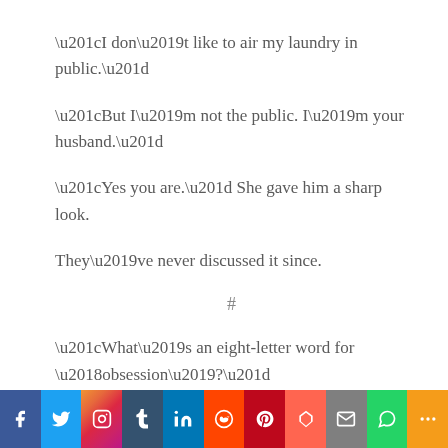“I don’t like to air my laundry in public.”
“But I’m not the public. I’m your husband.”
“Yes you are.” She gave him a sharp look.
They’ve never discussed it since.
#
“What’s an eight-letter word for ‘obsession’?”